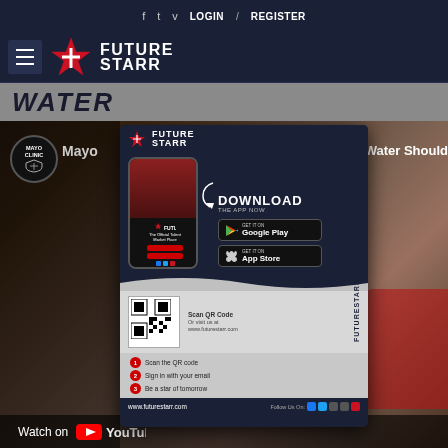f  Twitter  v  LOGIN  /  REGISTER
[Figure (logo): Future Starr logo with star icon and site navigation header]
WATER
[Figure (screenshot): Mayo Clinic YouTube video embed showing a woman with text 'Mayo Clinic - Which Water Should...' and Watch on YouTube bar]
[Figure (infographic): Future Starr app download popup with phone mockup, DOWNLOAD THE APP NOW text, Google Play and App Store buttons, QR code, 3 steps to download, and www.futurestarr.com URL]